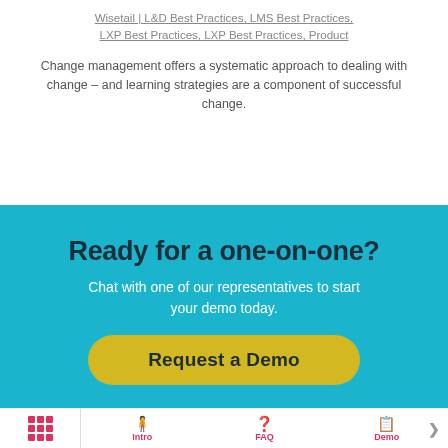Wisetail | L&D Best Practices, LMS Best Practices, LXP Best Practices, LXP Best Practices, Product
Change management offers a systematic approach to dealing with change – and learning strategies are a component of successful change.
Ready for a one-on-one?
Chat with one of our representatives to start your demo today.
Request a Demo
Intro | FAQ | Demo